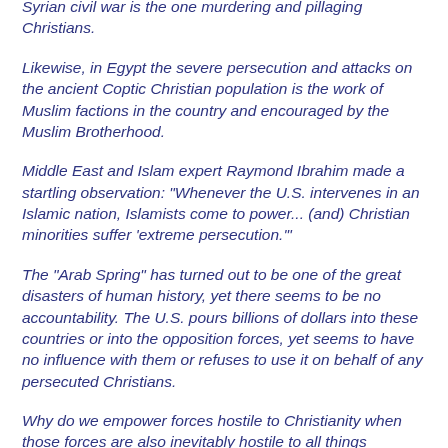Syrian civil war is the one murdering and pillaging Christians.
Likewise, in Egypt the severe persecution and attacks on the ancient Coptic Christian population is the work of Muslim factions in the country and encouraged by the Muslim Brotherhood.
Middle East and Islam expert Raymond Ibrahim made a startling observation: "Whenever the U.S. intervenes in an Islamic nation, Islamists come to power... (and) Christian minorities suffer 'extreme persecution.'"
The "Arab Spring" has turned out to be one of the great disasters of human history, yet there seems to be no accountability. The U.S. pours billions of dollars into these countries or into the opposition forces, yet seems to have no influence with them or refuses to use it on behalf of any persecuted Christians.
Why do we empower forces hostile to Christianity when those forces are also inevitably hostile to all things western, especially the United States? A conversation needs to begin...